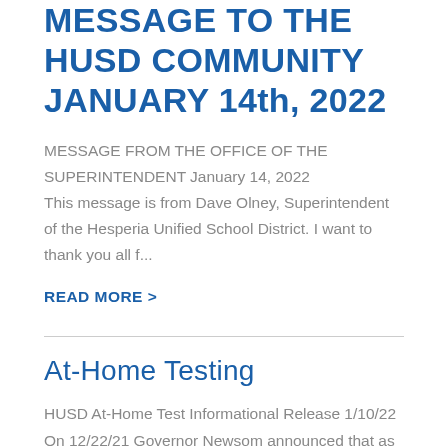MESSAGE TO THE HUSD COMMUNITY JANUARY 14th, 2022
MESSAGE FROM THE OFFICE OF THE SUPERINTENDENT January 14, 2022 This message is from Dave Olney, Superintendent of the Hesperia Unified School District. I want to thank you all f...
READ MORE >
At-Home Testing
HUSD At-Home Test Informational Release 1/10/22 On 12/22/21 Governor Newsom announced that as part of his